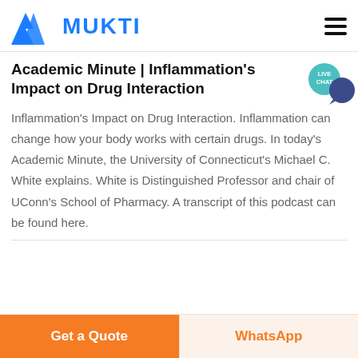[Figure (logo): MUKTI logo with blue geometric mountain/triangle icon and blue bold text MUKTI]
Academic Minute | Inflammation's Impact on Drug Interaction
Inflammation's Impact on Drug Interaction. Inflammation can change how your body works with certain drugs. In today's Academic Minute, the University of Connecticut's Michael C. White explains. White is Distinguished Professor and chair of UConn's School of Pharmacy. A transcript of this podcast can be found here.
[Figure (illustration): Teal Live Chat speech bubble icon with dark blue circle]
Get a Quote
WhatsApp